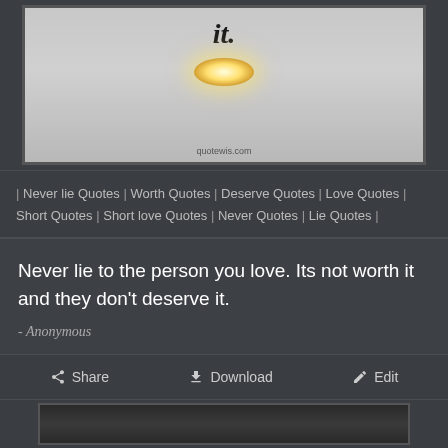[Figure (illustration): Quote image on grey background showing text 'it.' in bold italic with a glowing light bulb effect, watermark 'quotewis.com' at bottom]
| Never lie Quotes | Worth Quotes | Deserve Quotes | Love Quotes | Short Quotes | Short love Quotes | Never Quotes | Lie Quotes |
Never lie to the person you love. Its not worth it and they don't deserve it.
- Anonymous
Share   Download   Edit